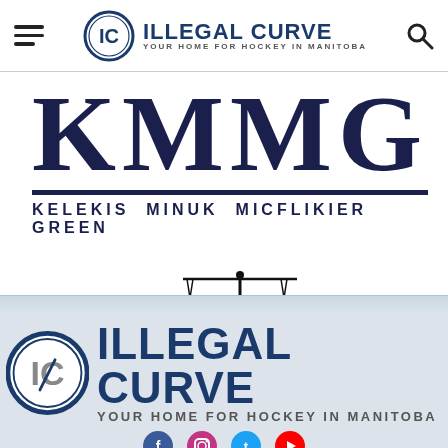ILLEGAL CURVE — YOUR HOME FOR HOCKEY IN MANITOBA (navigation bar)
[Figure (logo): KMMG — Kelekis Minuk Micflikier Green law firm logo with large serif letters KMMG over full name, and scales of justice icon below]
[Figure (logo): Illegal Curve logo — large text with IC badge icon and tagline YOUR HOME FOR HOCKEY IN MANITOBA, on grey background footer band]
[Figure (logo): Social media icons partial strip at bottom]